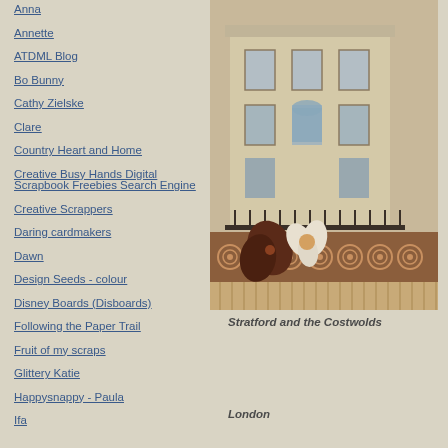Anna
Annette
ATDML Blog
Bo Bunny
Cathy Zielske
Clare
Country Heart and Home
Creative Busy Hands Digital Scrapbook Freebies Search Engine
Creative Scrappers
Daring cardmakers
Dawn
Design Seeds - colour
Disney Boards (Disboards)
Following the Paper Trail
Fruit of my scraps
Glittery Katie
Happysnappy - Paula
Ifa
[Figure (photo): Photo of a Georgian building in Stratford and the Costwolds, overlaid with decorative scrapbook elements including floral embellishments and patterned paper with circles and stripes in brown tones]
Stratford and the Costwolds
London